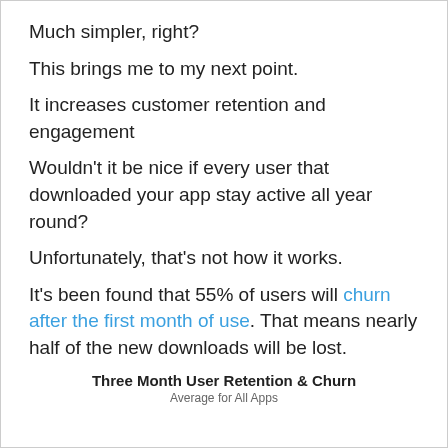Much simpler, right?
This brings me to my next point.
It increases customer retention and engagement
Wouldn't it be nice if every user that downloaded your app stay active all year round?
Unfortunately, that's not how it works.
It's been found that 55% of users will churn after the first month of use. That means nearly half of the new downloads will be lost.
Three Month User Retention & Churn
Average for All Apps